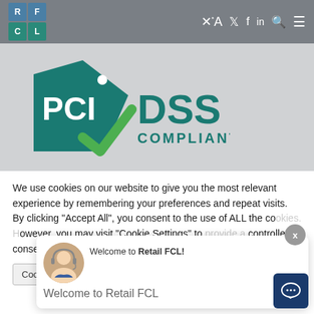[Figure (logo): RFCL logo - 2x2 grid of blue and teal squares with letters R, F, C, L]
[Figure (logo): PCI DSS Compliant logo - teal diamond shape with PCI text and green checkmark, DSS COMPLIANT text to the right]
We use cookies on our website to give you the most relevant experience by remembering your preferences and repeat visits. By clicking "Accept All", you consent to the use of ALL the cookies. However, you may visit "Cookie Settings" to provide a controlled consent.
Cookie Settings
[Figure (screenshot): Chat popup overlay with avatar image of customer service agent, text: Welcome to Retail FCL! and Welcome to Retail FCL subtitle. X close button top right. Dark blue chat icon button bottom right.]